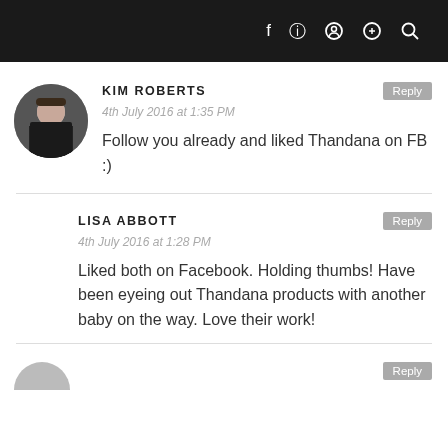f  [instagram]  [pinterest]  [search]
KIM ROBERTS
4th July 2016 at 1:35 PM
Follow you already and liked Thandana on FB :)
LISA ABBOTT
4th July 2016 at 1:28 PM
Liked both on Facebook. Holding thumbs! Have been eyeing out Thandana products with another baby on the way. Love their work!